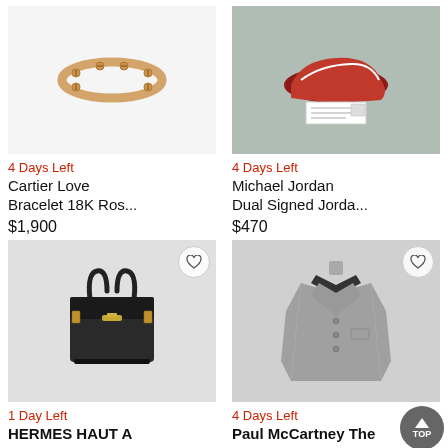[Figure (photo): Cartier Love Bracelet 18K rose gold on white background]
4 Days Left
Cartier Love Bracelet 18K Ros...
$1,900
[Figure (photo): Michael Jordan signed Jordan sneakers with certification paperwork]
4 Days Left
Michael Jordan Dual Signed Jorda...
$470
[Figure (photo): Black Hermes Birkin bag with gold hardware]
1 Day Left
HERMES HAUT A
[Figure (photo): Gray Paul McCartney suit jacket with black collar on mannequin]
4 Days Left
Paul McCartney The